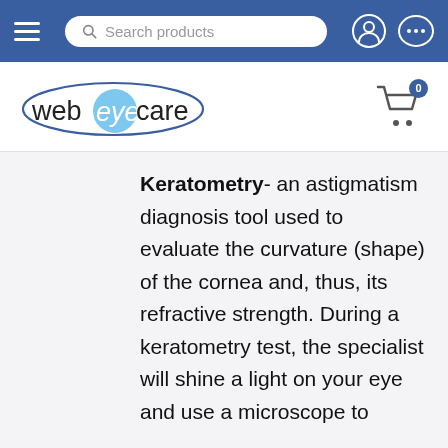Search products — webeyecare navigation bar
[Figure (logo): webeyecare logo with blue oval eye graphic and shopping cart icon with badge showing 0]
Keratometry- an astigmatism diagnosis tool used to evaluate the curvature (shape) of the cornea and, thus, its refractive strength. During a keratometry test, the specialist will shine a light on your eye and use a microscope to